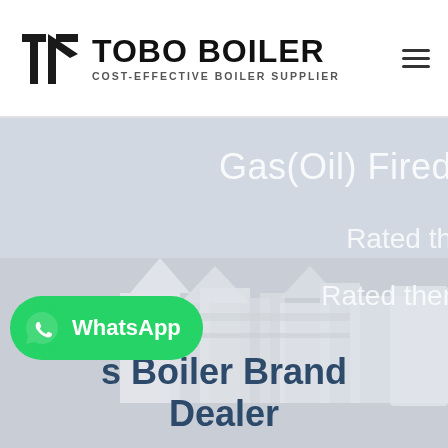[Figure (logo): Tobo Boiler company logo with stylized icon and text 'TOBO BOILER' with tagline 'COST-EFFECTIVE BOILER SUPPLIER']
[Figure (photo): Hero background image showing industrial boiler equipment, overlaid with light gray/blue tint. Contains partial text overlay: 'Gas(Oil) Fired', 'Rated th', 'Rated ther', and bottom title 's Boiler Brand Dealer' in dark navy blue. WhatsApp button overlay on lower left.]